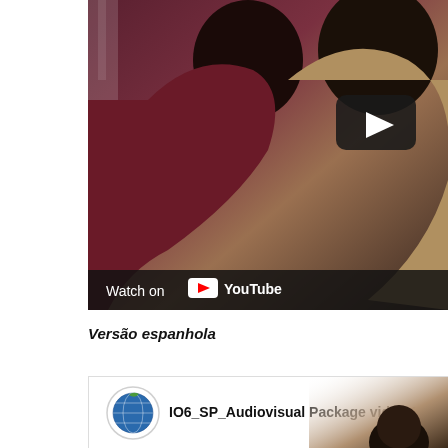[Figure (screenshot): YouTube video thumbnail showing two people, with a YouTube play button overlay and 'Watch on YouTube' bar at the bottom]
Versão espanhola
[Figure (screenshot): Second YouTube video thumbnail showing IO6_SP_Audiovisual Package video 1 with a globe/earth logo icon on the left]